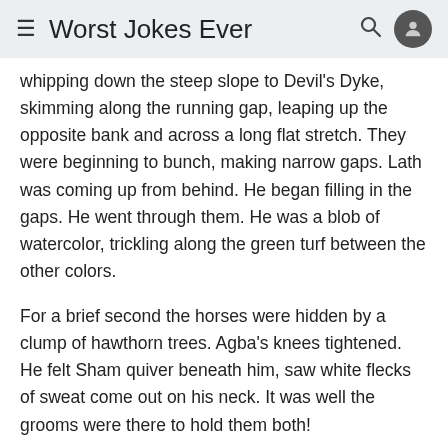≡ Worst Jokes Ever
whipping down the steep slope to Devil's Dyke, skimming along the running gap, leaping up the opposite bank and across a long flat stretch. They were beginning to bunch, making narrow gaps. Lath was coming up from behind. He began filling in the gaps. He went through them. He was a blob of watercolor, trickling along the green turf between the other colors.
For a brief second the horses were hidden by a clump of hawthorn trees. Agba's knees tightened. He felt Sham quiver beneath him, saw white flecks of sweat come out on his neck. It was well the grooms were there to hold them both!
The horses were coming around the trees now. The golden blob was still flowing between the